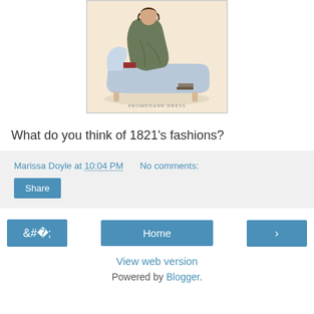[Figure (illustration): Victorian-era fashion illustration showing a woman in a green dress reclining on a chaise lounge, with caption text at the bottom reading 'PROMENADE DRESS']
What do you think of 1821's fashions?
Marissa Doyle at 10:04 PM   No comments:
Share
‹
Home
›
View web version
Powered by Blogger.